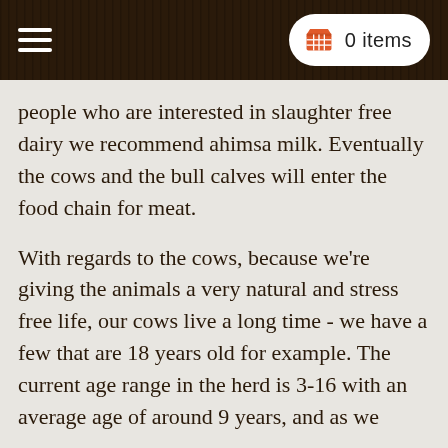≡   0 items
people who are interested in slaughter free dairy we recommend ahimsa milk. Eventually the cows and the bull calves will enter the food chain for meat.
With regards to the cows, because we're giving the animals a very natural and stress free life, our cows live a long time - we have a few that are 18 years old for example. The current age range in the herd is 3-16 with an average age of around 9 years, and as we